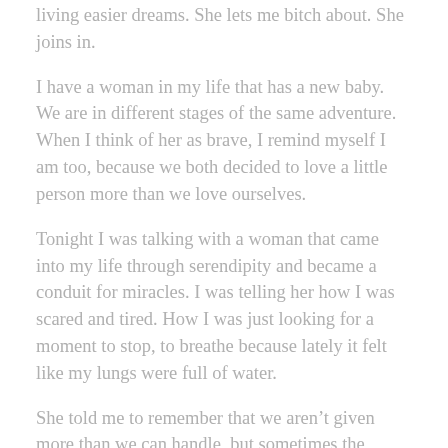living easier dreams. She lets me bitch about. She joins in.
I have a woman in my life that has a new baby. We are in different stages of the same adventure. When I think of her as brave, I remind myself I am too, because we both decided to love a little person more than we love ourselves.
Tonight I was talking with a woman that came into my life through serendipity and became a conduit for miracles. I was telling her how I was scared and tired. How I was just looking for a moment to stop, to breathe because lately it felt like my lungs were full of water.
She told me to remember that we aren't given more than we can handle, but sometimes the universe has more faith in us than we do.